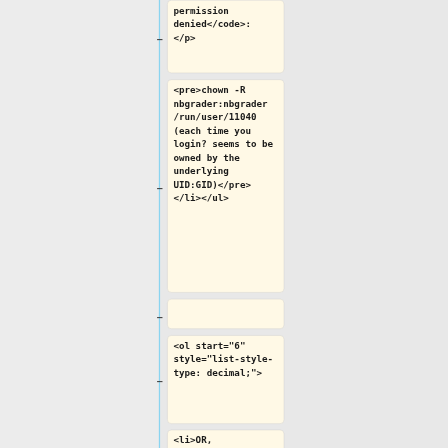permission denied</code>:
</p>
<pre>chown -R nbgrader:nbgrader /run/user/11040 (each time you login? seems to be owned by the underlying UID:GID)</pre>
</li></ul>
<ol start="6" style="list-style-type: decimal;">
<li>OR, alternatively